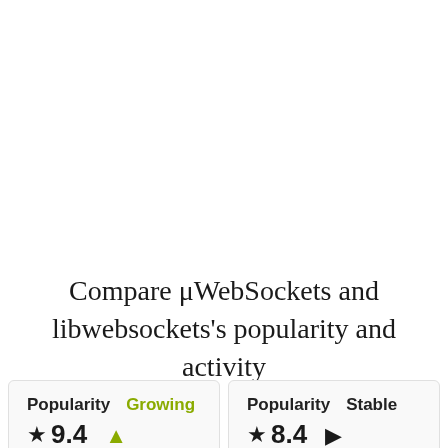Compare μWebSockets and libwebsockets's popularity and activity
Popularity  Growing  ★9.4  ▲
Popularity  Stable  ★8.4  ►